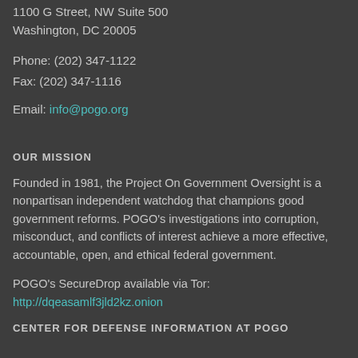1100 G Street, NW Suite 500
Washington, DC 20005
Phone: (202) 347-1122
Fax: (202) 347-1116
Email: info@pogo.org
OUR MISSION
Founded in 1981, the Project On Government Oversight is a nonpartisan independent watchdog that champions good government reforms. POGO's investigations into corruption, misconduct, and conflicts of interest achieve a more effective, accountable, open, and ethical federal government.
POGO's SecureDrop available via Tor:
http://dqeasamlf3jld2kz.onion
CENTER FOR DEFENSE INFORMATION AT POGO